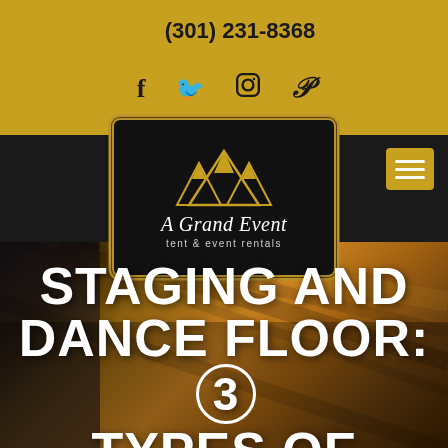(301) 231-8368
[Figure (logo): A Grand Event tent & event rentals logo — black rectangle with gold border, gold mountain/tent peaks illustration, script text 'A Grand Event' and subtitle 'tent & event rentals']
STAGING AND DANCE FLOOR: 3 TYPES OF